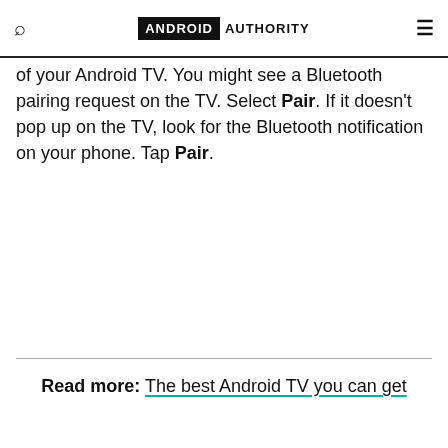ANDROID AUTHORITY
of your Android TV. You might see a Bluetooth pairing request on the TV. Select Pair. If it doesn't pop up on the TV, look for the Bluetooth notification on your phone. Tap Pair.
Read more: The best Android TV you can get